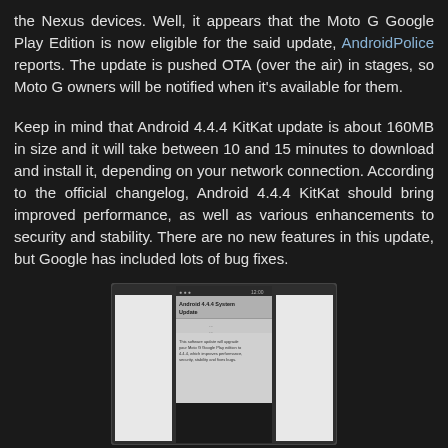the Nexus devices. Well, it appears that the Moto G Google Play Edition is now eligible for the said update, AndroidPolice reports. The update is pushed OTA (over the air) in stages, so Moto G owners will be notified when it's available for them.
Keep in mind that Android 4.4.4 KitKat update is about 160MB in size and it will take between 10 and 15 minutes to download and install it, depending on your network connection. According to the official changelog, Android 4.4.4 KitKat should bring improved performance, as well as various enhancements to security and stability. There are no new features in this update, but Google has included lots of bug fixes.
[Figure (screenshot): Screenshot of an Android 4.4.4 System Update notification screen on a Moto G Google Play Edition device, showing update details about performance, security, stability and bug fixes improvements.]